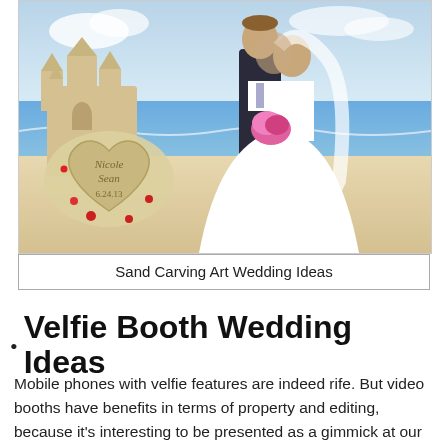[Figure (photo): A bride and groom standing on a beach next to an elaborate sand castle sculpture. In front of them is a large sand heart carved with 'Nicole Sean 6.24.13'. Small red flowers are placed around the sculpture.]
Sand Carving Art Wedding Ideas
Velfie Booth Wedding Ideas
Mobile phones with velfie features are indeed rife. But video booths have benefits in terms of property and editing, because it's interesting to be presented as a gimmick at our wedding. The video booth, as offered by many booth experts. Record guests behavior in a room